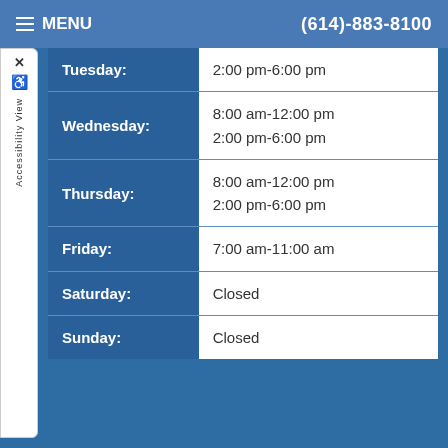≡ MENU   (614)-883-8100
| Day | Hours |
| --- | --- |
| Tuesday: | 2:00 pm-6:00 pm |
| Wednesday: | 8:00 am-12:00 pm
2:00 pm-6:00 pm |
| Thursday: | 8:00 am-12:00 pm
2:00 pm-6:00 pm |
| Friday: | 7:00 am-11:00 am |
| Saturday: | Closed |
| Sunday: | Closed |